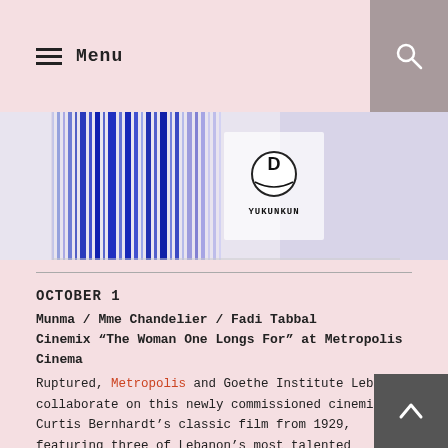Menu
[Figure (illustration): Banner image with vertical blue and multicolor stripes and a circular logo reading YUKUNKUN in the center]
OCTOBER 1
Munma / Mme Chandelier / Fadi Tabbal Cinemix “The Woman One Longs For” at Metropolis Cinema
Ruptured, Metropolis and Goethe Institute Lebanon collaborate on this newly commissioned cinemix for Curtis Bernhardt’s classic film from 1929, featuring three of Lebanon’s most talented experimental musicians.